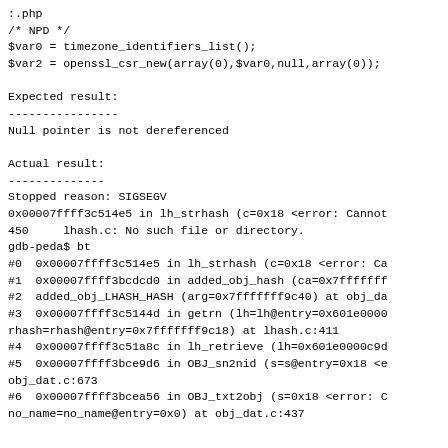:.php
/* NPD */
$var0 = timezone_identifiers_list();
$var2 = openssl_csr_new(array(0),$var0,null,array(0));

Expected result:
----------------
Null pointer is not dereferenced

Actual result:
--------------
Stopped reason: SIGSEGV
0x00007ffff3c514e5 in lh_strhash (c=0x18 <error: Cannot
450     lhash.c: No such file or directory.
gdb-peda$ bt
#0  0x00007ffff3c514e5 in lh_strhash (c=0x18 <error: Ca
#1  0x00007ffff3bcdcd0 in added_obj_hash (ca=0x7fffffff
#2  added_obj_LHASH_HASH (arg=0x7fffffff9c40) at obj_da
#3  0x00007ffff3c5144d in getrn (lh=lh@entry=0x601e0000
rhash=rhash@entry=0x7fffffff9c18) at lhash.c:411
#4  0x00007ffff3c51a8c in lh_retrieve (lh=0x601e0000c9d
#5  0x00007ffff3bce9d6 in OBJ_sn2nid (s=s@entry=0x18 <e
obj_dat.c:673
#6  0x00007ffff3bcea56 in OBJ_txt2obj (s=0x18 <error: C
no_name=no_name@entry=0x0) at obj_dat.c:437